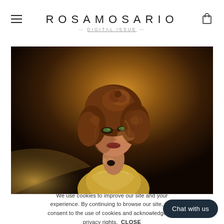ROSAMOSARIO — DIGITAL ISSUE —
[Figure (photo): Portrait of a woman with voluminous curly auburn hair, dramatic green eye makeup, wearing a metallic gold costume, photographed against a warm amber/dark background in editorial fashion style.]
We use cookies to improve our site and your experience. By continuing to browse our site, you consent to the use of cookies and acknowledge our privacy rights.  CLOSE